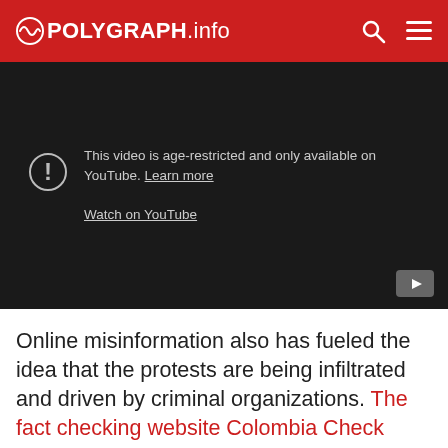POLYGRAPH.info
[Figure (screenshot): YouTube age-restricted video embed showing message: 'This video is age-restricted and only available on YouTube. Learn more' and 'Watch on YouTube']
Online misinformation also has fueled the idea that the protests are being infiltrated and driven by criminal organizations. The fact checking website Colombia Check wrote on May 3 that a video of ELN members allegedly declaring an armed strike and